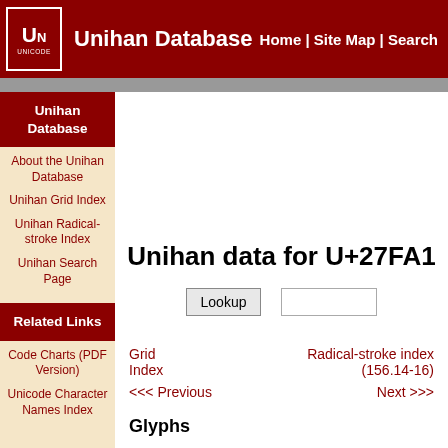Unihan Database | Home | Site Map | Search
Unihan data for U+27FA1
About the Unihan Database
Unihan Grid Index
Unihan Radical-stroke Index
Unihan Search Page
Related Links
Code Charts (PDF Version)
Unicode Character Names Index
Grid Index | Radical-stroke index (156.14-16)
<<< Previous | Next >>>
Glyphs